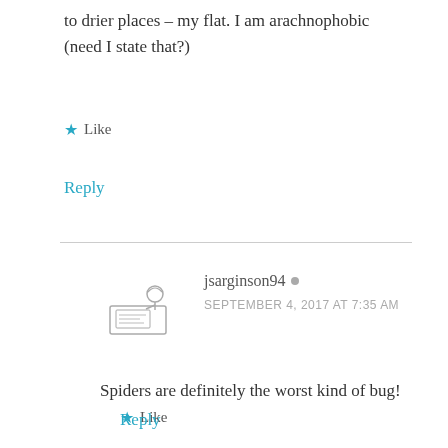to drier places – my flat. I am arachnophobic (need I state that?)
★ Like
Reply
[Figure (illustration): Line drawing avatar of a person sitting at a computer desk]
jsarginson94 •
SEPTEMBER 4, 2017 AT 7:35 AM
Spiders are definitely the worst kind of bug!
★ Like
Reply